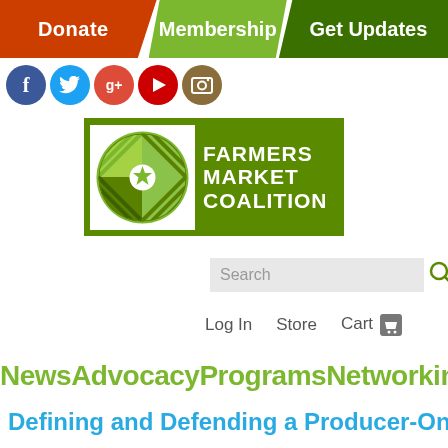Donate | Membership | Get Updates
[Figure (logo): Social media icons: Facebook, Twitter, Google+, YouTube, Camera/Instagram]
[Figure (logo): Farmers Market Coalition logo — green circular emblem with star, text FARMERS MARKET COALITION]
Search
Log In   Store   Cart
NewsAdvocacyProgramsNetworkingResources
Defining and Defending a Producer-Only Market